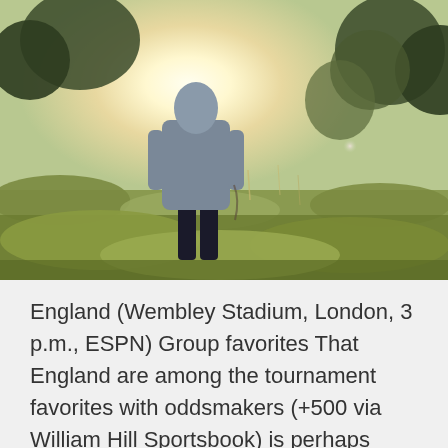[Figure (photo): A person standing with their back to the camera in a sunlit outdoor field with trees and bright sunlight shining from behind.]
England (Wembley Stadium, London, 3 p.m., ESPN) Group favorites That England are among the tournament favorites with oddsmakers (+500 via William Hill Sportsbook) is perhaps more a reflection of betting markets than their actual chances of winning Euro 2020 but there are many reasons to believe they will be at the business Spain 8/1, Portugal 8/1, Italy 10/1